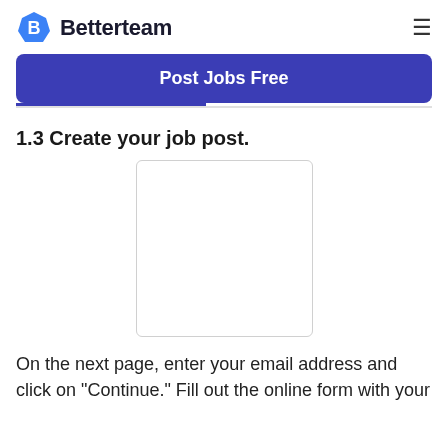Betterteam
Post Jobs Free
1.3 Create your job post.
[Figure (screenshot): Empty white rounded rectangle representing a form or screenshot placeholder]
On the next page, enter your email address and click on "Continue." Fill out the online form with your